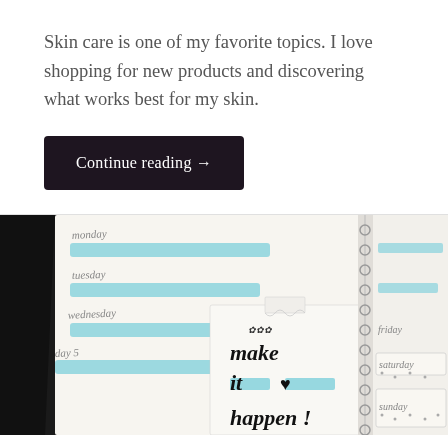Skin care is one of my favorite topics. I love shopping for new products and discovering what works best for my skin.
Continue reading →
[Figure (photo): Photo of a planner/weekly journal spread with handwritten days in blue marker, and a sticky note that reads 'make it happen!' with a heart doodle, in black handwritten lettering.]